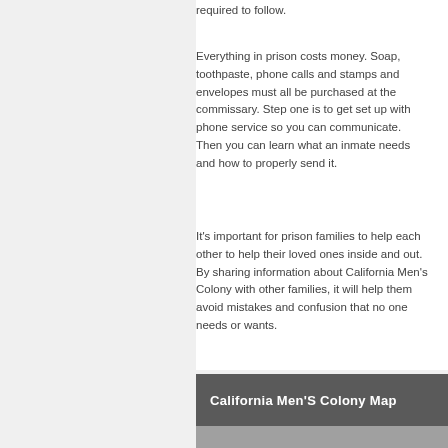required to follow.
Everything in prison costs money. Soap, toothpaste, phone calls and stamps and envelopes must all be purchased at the commissary. Step one is to get set up with phone service so you can communicate. Then you can learn what an inmate needs and how to properly send it.
It's important for prison families to help each other to help their loved ones inside and out. By sharing information about California Men's Colony with other families, it will help them avoid mistakes and confusion that no one needs or wants.
California Men'S Colony Map